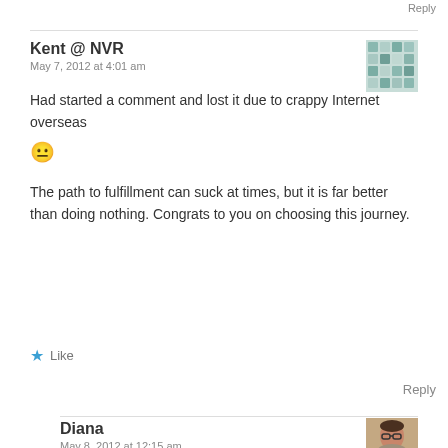Reply
Kent @ NVR
May 7, 2012 at 4:01 am
Had started a comment and lost it due to crappy Internet overseas 😐
The path to fulfillment can suck at times, but it is far better than doing nothing. Congrats to you on choosing this journey.
Like
Reply
Diana
May 8, 2012 at 12:15 am